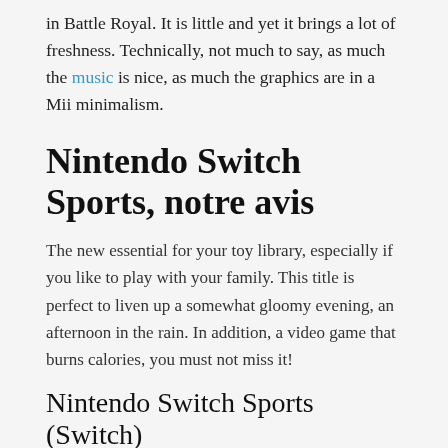in Battle Royal. It is little and yet it brings a lot of freshness. Technically, not much to say, as much the music is nice, as much the graphics are in a Mii minimalism.
Nintendo Switch Sports, notre avis
The new essential for your toy library, especially if you like to play with your family. This title is perfect to liven up a somewhat gloomy evening, an afternoon in the rain. In addition, a video game that burns calories, you must not miss it!
Nintendo Switch Sports (Switch)
[Figure (photo): Two Nintendo Switch Sports game boxes side by side with red packaging]